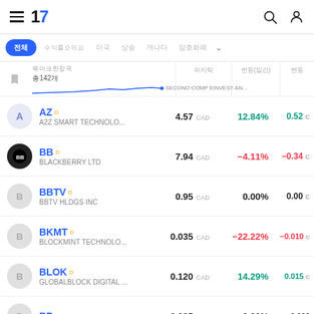TradingView mobile app header with hamburger menu, logo, search and user icons
Filter tabs: 전체 | 수익률순위표 | 미국 | 상승 | 캐나다 | 암호화폐 | ▾
| 이름/설명 | 마지막 | 변동% | 변동 |
| --- | --- | --- | --- |
| AZ / A2Z SMART TECHNOLO... | 4.57 CAD | 12.84% | 0.52 C |
| BB / BLACKBERRY LTD | 7.94 CAD | -4.11% | -0.34 C |
| BBTV / BBTV HLDGS INC | 0.95 CAD | 0.00% | 0.00 C |
| BKMT / BLOCKMINT TECHNOLO... | 0.035 CAD | -22.22% | -0.010 C |
| BLOK / GLOBALBLOCK DIGITAL ... | 0.120 CAD | 14.29% | 0.015 C |
| BP | 0.085 CAD | 0.00% | 0.000 |